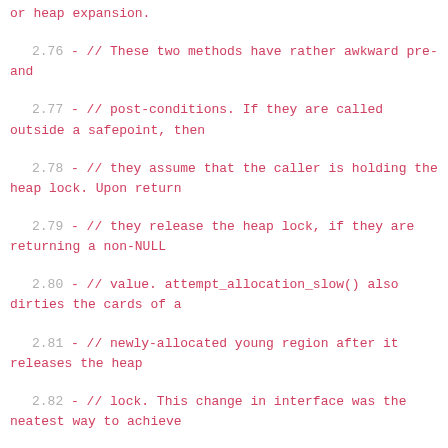or heap expansion.
2.76 -  // These two methods have rather awkward pre- and
2.77 -  // post-conditions. If they are called outside a safepoint, then
2.78 -  // they assume that the caller is holding the heap lock. Upon return
2.79 -  // they release the heap lock, if they are returning a non-NULL
2.80 -  // value. attempt_allocation_slow() also dirties the cards of a
2.81 -  // newly-allocated young region after it releases the heap
2.82 -  // lock. This change in interface was the neatest way to achieve
2.83 -  // this card dirtying without affecting mem_allocate(), which is a
2.84 -  // more frequently called method. We tried two or three different
2.85 -  // approaches, but they were even more hacky.
2.86 -  HeapWord* attempt_allocation(size_t word_size,
2.87 -                                               bool permit_collection_pause = true);
2.88 +  // The following two methods, allocate_new_tlab() and